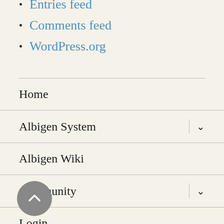Entries feed
Comments feed
WordPress.org
Home
Albigen System
Albigen Wiki
Community
Login
Albigen.Net /